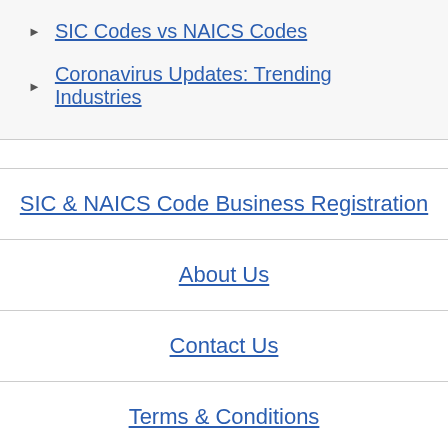SIC Codes vs NAICS Codes
Coronavirus Updates: Trending Industries
SIC & NAICS Code Business Registration
About Us
Contact Us
Terms & Conditions
Privacy Policy